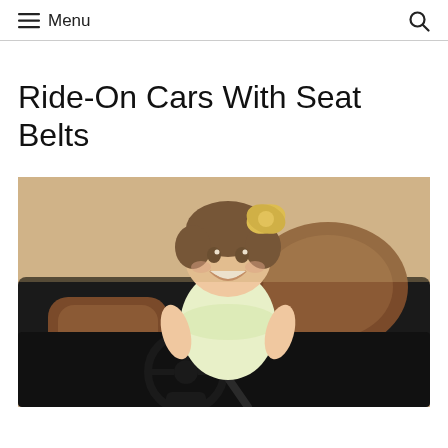Menu
Ride-On Cars With Seat Belts
[Figure (photo): A smiling baby girl with a yellow flower bow in her hair, wearing a light yellow dress, sitting in a brown leather seat of a black ride-on toy car with a steering wheel and seat belt visible.]